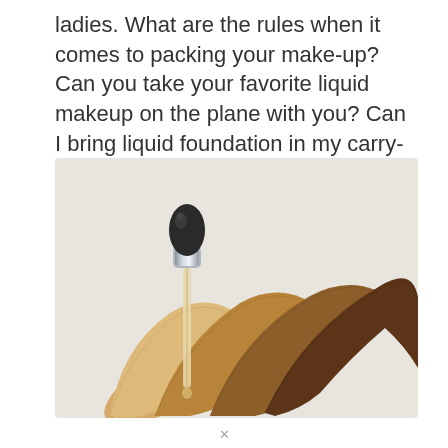ladies. What are the rules when it comes to packing your make-up? Can you take your favorite liquid makeup on the plane with you? Can I bring liquid foundation in my carry-on?
[Figure (photo): Photo of liquid foundation dropper bottle with multiple swatches of foundation shades fanned out, ranging from light beige to medium tan to dark brown, against a light gray background.]